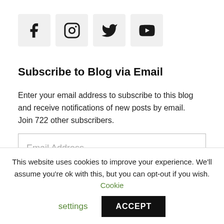[Figure (illustration): Social media icons: Facebook, Instagram, Twitter, YouTube, each in a light gray square box]
Subscribe to Blog via Email
Enter your email address to subscribe to this blog and receive notifications of new posts by email. Join 722 other subscribers.
Email Address
This website uses cookies to improve your experience. We'll assume you're ok with this, but you can opt-out if you wish. Cookie settings ACCEPT